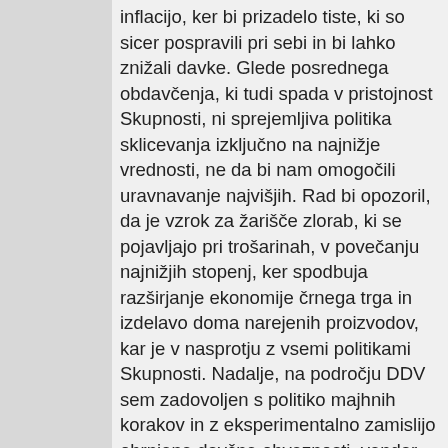inflacijo, ker bi prizadelo tiste, ki so sicer pospravili pri sebi in bi lahko znižali davke. Glede posrednega obdavčenja, ki tudi spada v pristojnost Skupnosti, ni sprejemljiva politika sklicevanja izključno na najnižje vrednosti, ne da bi nam omogočili uravnavanje najvišjih. Rad bi opozoril, da je vzrok za žarišče zlorab, ki se pojavljajo pri trošarinah, v povečanju najnižjih stopenj, ker spodbuja razširjanje ekonomije črnega trga in izdelavo doma narejenih proizvodov, kar je v nasprotju z vsemi politikami Skupnosti. Nadalje, na področju DDV sem zadovoljen s politiko majhnih korakov in z eksperimentalno zamislijo obrnjene davčne obveznosti, vendar so tu potrebni tudi premišljeni koraki naprej. Po mojem mnenju bi glede na raven tehnologije, ki jo imamo danes, to